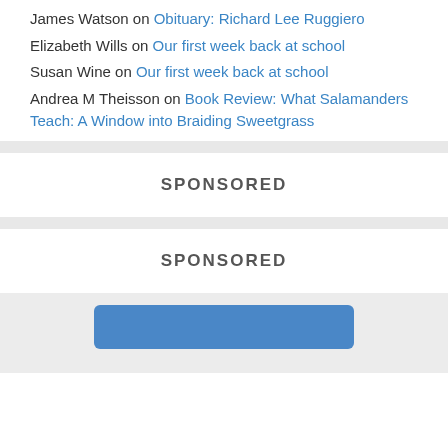James Watson on Obituary: Richard Lee Ruggiero
Elizabeth Wills on Our first week back at school
Susan Wine on Our first week back at school
Andrea M Theisson on Book Review: What Salamanders Teach: A Window into Braiding Sweetgrass
SPONSORED
SPONSORED